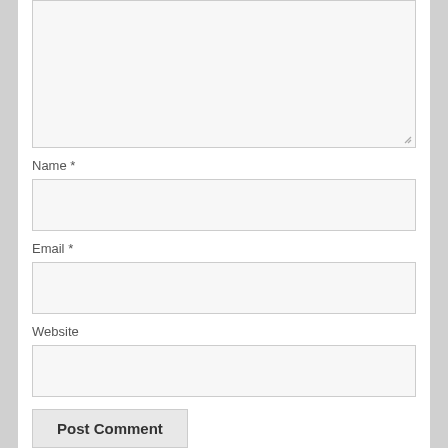[Figure (screenshot): Comment textarea input box (empty, resizable)]
Name *
[Figure (screenshot): Name text input field (empty)]
Email *
[Figure (screenshot): Email text input field (empty)]
Website
[Figure (screenshot): Website text input field (empty)]
[Figure (screenshot): Post Comment button]
Notify me of new comments via email